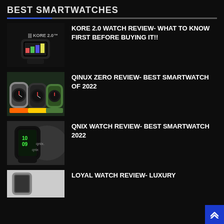BEST SMARTWATCHES
KORE 2.0 WATCH REVIEW- WHAT TO KNOW FIRST BEFORE BUYING IT!!
QINUX ZERO REVIEW- BEST SMARTWATCH OF 2022
QNIX WATCH REVIEW- BEST SMARTWATCH 2022
LOYAL WATCH REVIEW- LUXURY